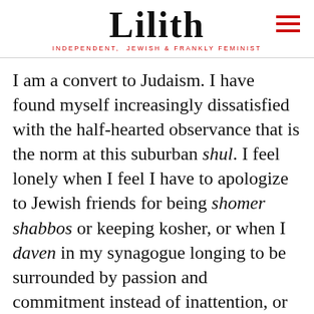Lilith — INDEPENDENT, JEWISH & FRANKLY FEMINIST
I am a convert to Judaism. I have found myself increasingly dissatisfied with the half-hearted observance that is the norm at this suburban shul. I feel lonely when I feel I have to apologize to Jewish friends for being shomer shabbos or keeping kosher, or when I daven in my synagogue longing to be surrounded by passion and commitment instead of inattention, or when I daven alone in the women's section of an Orthodox shul, minus my tallit and tefillin, where I cannot touch the